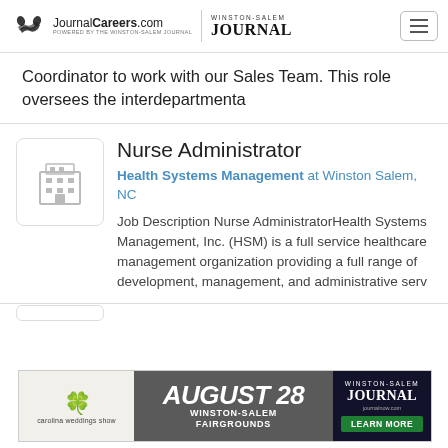JournalCareers.com POWERED BY THE WINSTON-SALEM JOURNAL | WINSTON-SALEM JOURNAL
Coordinator to work with our Sales Team. This role oversees the interdepartmenta
Nurse Administrator
Health Systems Management at Winston Salem, NC
Job Description Nurse AdministratorHealth Systems Management, Inc. (HSM) is a full service healthcare management organization providing a full range of development, management, and administrative serv
[Figure (infographic): Advertisement banner: Carolina Weddings Show, August 28, Winston-Salem Fairgrounds, Winston-Salem Journal, Learn More button]